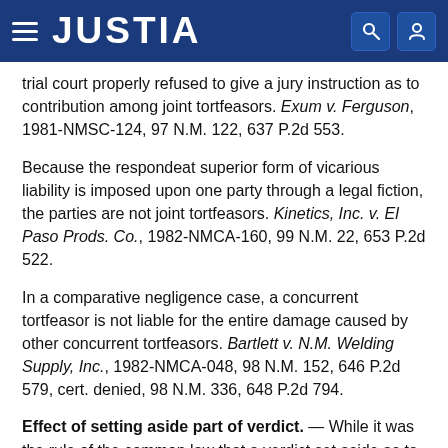JUSTIA
trial court properly refused to give a jury instruction as to contribution among joint tortfeasors. Exum v. Ferguson, 1981-NMSC-124, 97 N.M. 122, 637 P.2d 553.
Because the respondeat superior form of vicarious liability is imposed upon one party through a legal fiction, the parties are not joint tortfeasors. Kinetics, Inc. v. El Paso Prods. Co., 1982-NMCA-160, 99 N.M. 22, 653 P.2d 522.
In a comparative negligence case, a concurrent tortfeasor is not liable for the entire damage caused by other concurrent tortfeasors. Bartlett v. N.M. Welding Supply, Inc., 1982-NMCA-048, 98 N.M. 152, 646 P.2d 579, cert. denied, 98 N.M. 336, 648 P.2d 794.
Effect of setting aside part of verdict. — While it was the rule of the common law that a verdict set aside as to